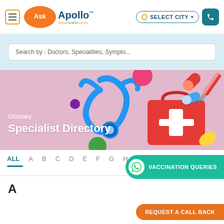Ask Apollo™ #yourhealthonline | SELECT CITY ▾ | Phone
Search by : Doctors, Specialities, Sympto...
[Figure (illustration): Medical banner with stethoscope, first aid kit, pills, capsules on pink background. Text: Glossary - Specialist Directory]
Glossary
Specialist Directory
ALL  A  B  C  D  E  F  G  H  I  M
[Figure (other): WhatsApp VACCINATION QUERIES button (teal rounded pill)]
A
[Figure (other): REQUEST A CALL BACK orange rounded button]